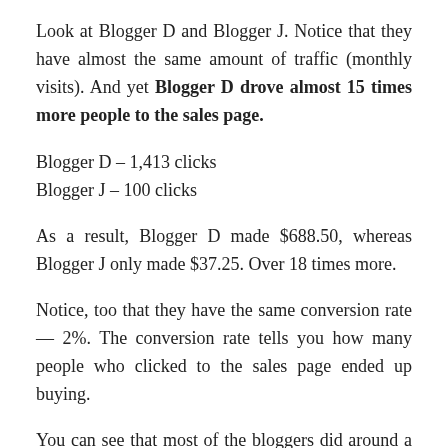Look at Blogger D and Blogger J. Notice that they have almost the same amount of traffic (monthly visits). And yet Blogger D drove almost 15 times more people to the sales page.
Blogger D – 1,413 clicks
Blogger J – 100 clicks
As a result, Blogger D made $688.50, whereas Blogger J only made $37.25. Over 18 times more.
Notice, too that they have the same conversion rate — 2%. The conversion rate tells you how many people who clicked to the sales page ended up buying.
You can see that most of the bloggers did around a 2%